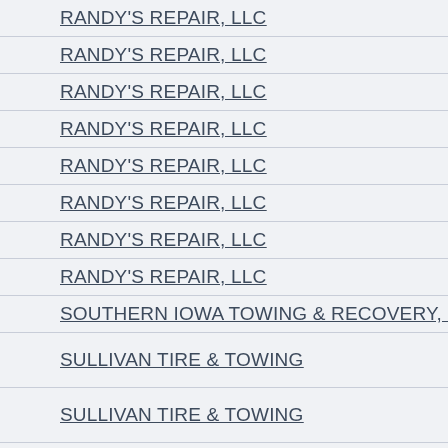RANDY'S REPAIR, LLC
RANDY'S REPAIR, LLC
RANDY'S REPAIR, LLC
RANDY'S REPAIR, LLC
RANDY'S REPAIR, LLC
RANDY'S REPAIR, LLC
RANDY'S REPAIR, LLC
RANDY'S REPAIR, LLC
SOUTHERN IOWA TOWING & RECOVERY, LLC
SULLIVAN TIRE & TOWING
SULLIVAN TIRE & TOWING
SULLIVAN TIRE & TOWING